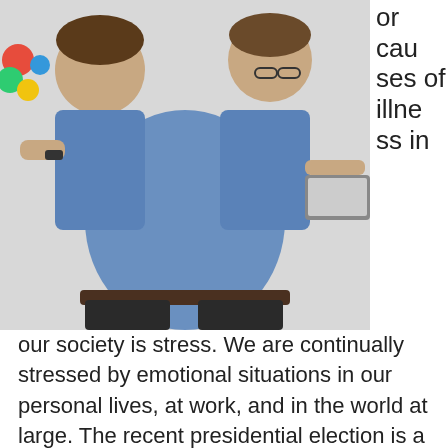[Figure (photo): A composite photo of a man in a blue denim shirt shown with multiple arms, multitasking — juggling colorful balls, working on a laptop, gesturing. White background.]
or causes of illness in our society is stress. We are continually stressed by emotional situations in our personal lives, at work, and in the world at large. The recent presidential election is a case in point. Many people found that their assumptions about the political climate were inaccurate, resulting in post-election feelings of shock and fear, and not knowing how to proceed. In Western medical parlance, the Sympathetic Nervous System (SNS) of these individuals was highly activated producing a sense of "fight, flight, or freeze." However, in this case, there was nowhere to run, no one to fight, and freezing was really the only viable option. Activating the other half of the Autonomic Nervous System